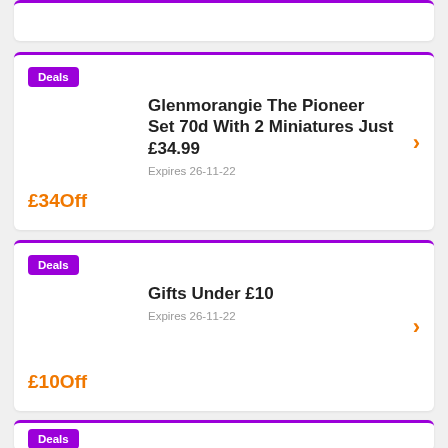Deals
Glenmorangie The Pioneer Set 70d With 2 Miniatures Just £34.99
£34Off
Expires 26-11-22
Deals
Gifts Under £10
£10Off
Expires 26-11-22
Deals